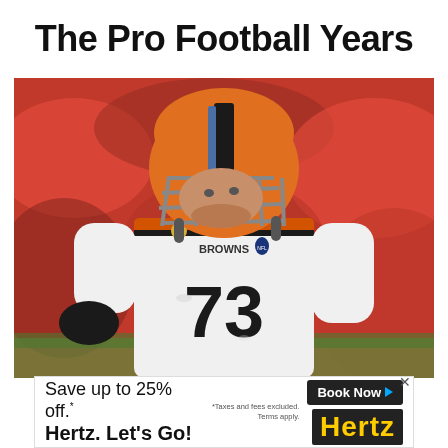The Pro Football Years
[Figure (photo): Cleveland Browns football player wearing jersey number 73 and orange helmet, in game action, pointing or gesturing on the field with a blurred crowd in the background]
[Figure (other): Hertz advertisement banner: Save up to 25% off. Hertz. Let's Go! with Book Now button and Hertz logo]